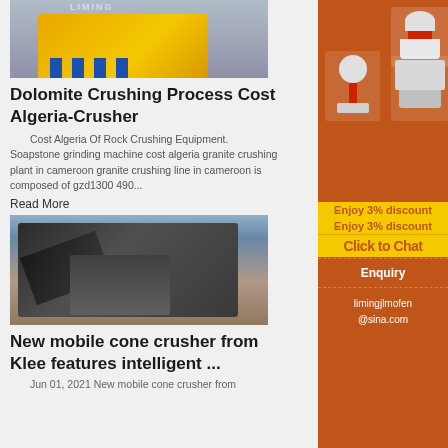[Figure (photo): Yellow industrial crusher machine with blue support cylinders on a factory floor]
Dolomite Crushing Process Cost Algeria-Crusher
Cost Algeria Of Rock Crushing Equipment. Soapstone grinding machine cost algeria granite crushing plant in cameroon granite crushing line in cameroon is composed of gzd1300 490...
Read More
[Figure (photo): Mobile cone crusher machine on a dusty outdoor construction site]
New mobile cone crusher from Klee features intelligent ...
Jun 01, 2021  New mobile cone crusher from
[Figure (photo): Sidebar advertisement showing crushing and grinding machinery with orange background, discount offer, chat button, enquiry section and email contact]